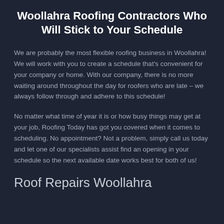Woollahra Roofing Contractors Who Will Stick to Your Schedule
We are probably the most flexible roofing business in Woollahra! We will work with you to create a schedule that's convenient for your company or home. With our company, there is no more waiting around throughout the day for roofers who are late – we always follow through and adhere to this schedule!
No matter what time of year it is or how busy things may get at your job, Roofing Today has got you covered when it comes to scheduling. No appointment? Not a problem, simply call us today and let one of our specialists assist find an opening in your schedule so the next available date works best for both of us!
Roof Repairs Woollahra